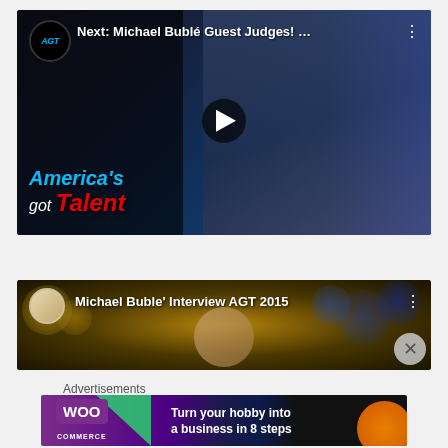[Figure (screenshot): YouTube video thumbnail: 'Next: Michael Bublé Guest Judges! ...' from America's Got Talent channel, showing Michael Bublé smiling, with AGT logo and America's Got Talent text overlay, play button visible]
[Figure (screenshot): YouTube video thumbnail: 'Michael Buble' Interview AGT 2015' showing a person's face, bokeh background, channel icon, three-dot menu and close X button]
Advertisements
[Figure (screenshot): WooCommerce advertisement banner: purple background with green triangle, 'WooCommerce' logo on left, text 'Turn your hobby into a business in 8 steps', orange circle decoration on right]